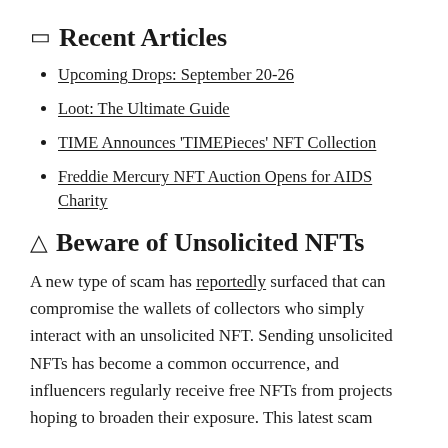🔲 Recent Articles
Upcoming Drops: September 20-26
Loot: The Ultimate Guide
TIME Announces 'TIMEPieces' NFT Collection
Freddie Mercury NFT Auction Opens for AIDS Charity
⚠ Beware of Unsolicited NFTs
A new type of scam has reportedly surfaced that can compromise the wallets of collectors who simply interact with an unsolicited NFT. Sending unsolicited NFTs has become a common occurrence, and influencers regularly receive free NFTs from projects hoping to broaden their exposure. This latest scam